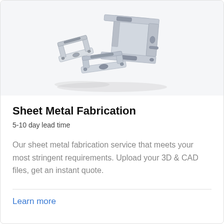[Figure (photo): Sheet metal fabricated parts — multiple stainless steel bent/stamped brackets and clips photographed on white background]
Sheet Metal Fabrication
5-10 day lead time
Our sheet metal fabrication service that meets your most stringent requirements. Upload your 3D & CAD files, get an instant quote.
Learn more